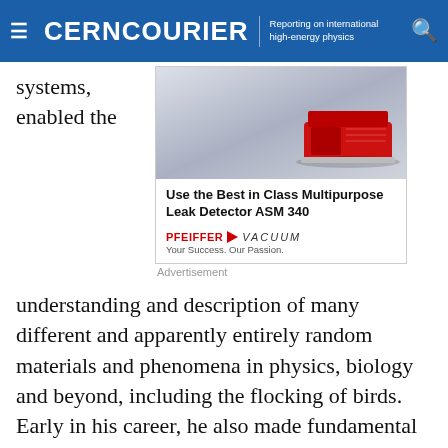CERNCOURIER | Reporting on international high-energy physics
systems, enabled the
[Figure (illustration): Advertisement for Pfeiffer Vacuum ASM 340 Multipurpose Leak Detector. Shows a red device on a grey/blue gradient background. Text reads: Use the Best in Class Multipurpose Leak Detector ASM 340. PFEIFFER VACUUM. Your Success. Our Passion.]
Advertisement
understanding and description of many different and apparently entirely random materials and phenomena in physics, biology and beyond, including the flocking of birds. Early in his career, he also made fundamental contributions to particle physics, the most well-known being the derivation, together with the late Guido Altarelli and others, of the “DGLAP” QCD evolution equations for parton densities. “My mentor Nicola Cabibbo was usually saying that we should work on a